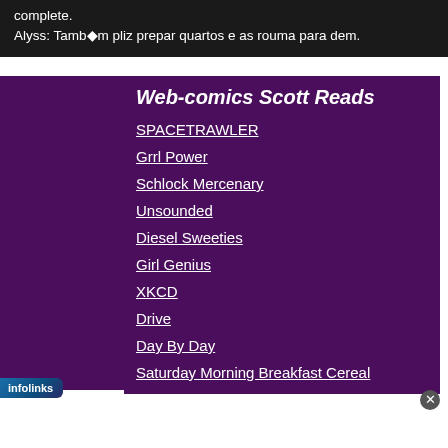complete.
Alyss: Tamb◆m pliz prepar quartos e as rouma para dem.
Web-comics Scott Reads
SPACETRAWLER
Grrl Power
Schlock Mercenary
Unsounded
Diesel Sweeties
Girl Genius
XKCD
Drive
Day By Day
Saturday Morning Breakfast Cereal
Questionable Content
Gunnerkrigg Court